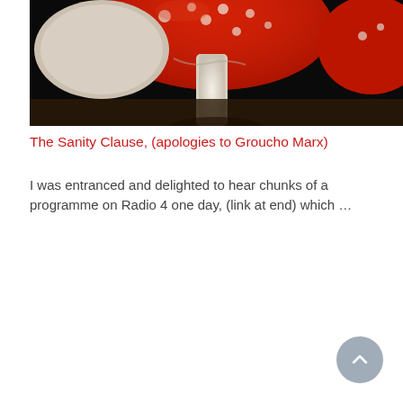[Figure (photo): Close-up photograph of red and white Amanita muscaria (fly agaric) mushrooms with white spots on a dark background]
The Sanity Clause, (apologies to Groucho Marx)
I was entranced and delighted to hear chunks of a programme on Radio 4 one day, (link at end) which …